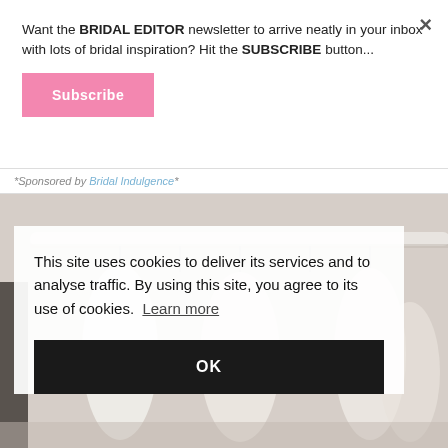Want the BRIDAL EDITOR newsletter to arrive neatly in your inbox with lots of bridal inspiration? Hit the SUBSCRIBE button...
Subscribe
*Sponsored by Bridal Indulgence*
[Figure (photo): Background photo of white clothing rack with garments hanging, bridal setting]
This site uses cookies to deliver its services and to analyse traffic. By using this site, you agree to its use of cookies. Learn more
OK